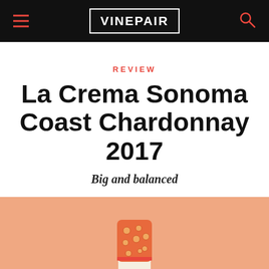VINEPAIR
REVIEW
La Crema Sonoma Coast Chardonnay 2017
Big and balanced
[Figure (illustration): Illustrated wine bottle top with orange/peach polka-dot foil capsule, cream-colored label band, and teal/dark green bottle neck, set against a peach/salmon background]